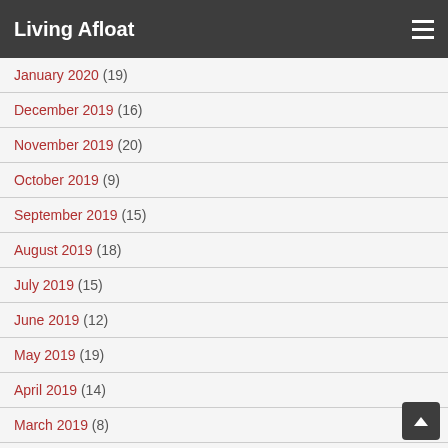Living Afloat
January 2020 (19)
December 2019 (16)
November 2019 (20)
October 2019 (9)
September 2019 (15)
August 2019 (18)
July 2019 (15)
June 2019 (12)
May 2019 (19)
April 2019 (14)
March 2019 (8)
February 2019 (11)
January 2019 (13)